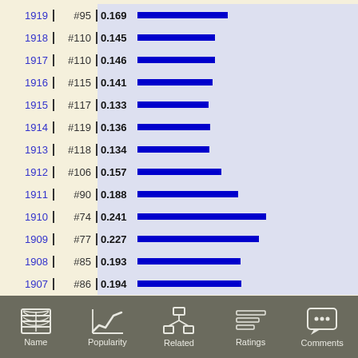[Figure (bar-chart): Year popularity rankings]
Name  Popularity  Related  Ratings  Comments